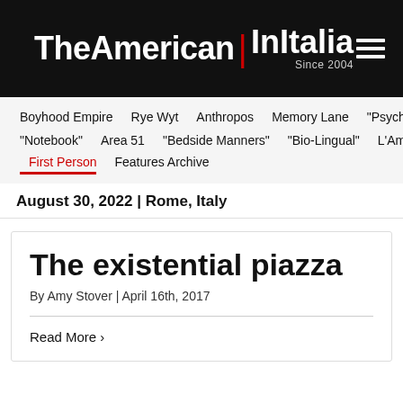TheAmerican | InItalia Since 2004
Boyhood Empire   Rye Wyt   Anthropos   Memory Lane   "Psych Dept."
"Notebook"   Area 51   "Bedside Manners"   "Bio-Lingual"   L'Americana
First Person   Features Archive
August 30, 2022 | Rome, Italy
The existential piazza
By Amy Stover | April 16th, 2017
Read More ›